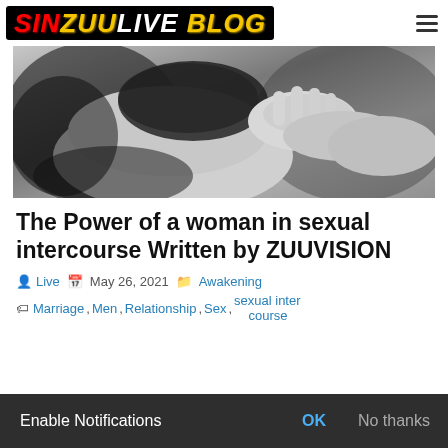SINZUULIVE BLOG
[Figure (photo): Black and white close-up photo of a hand touching a person's body wearing black lace lingerie]
The Power of a woman in sexual intercourse Written by ZUUVISION
Live  May 26, 2021  Awakening
Marriage, Men, Relationship, Sex, sexual inter course
Enable Notifications  OK  No thanks